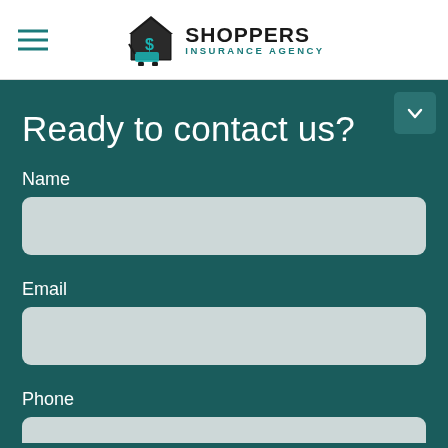[Figure (logo): Shoppers Insurance Agency logo with shopping cart icon and house, teal and black color scheme]
Ready to contact us?
Name
Email
Phone